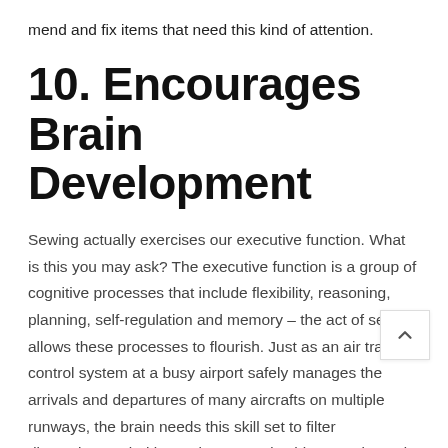mend and fix items that need this kind of attention.
10. Encourages Brain Development
Sewing actually exercises our executive function. What is this you may ask? The executive function is a group of cognitive processes that include flexibility, reasoning, planning, self-regulation and memory – the act of sewing allows these processes to flourish. Just as an air traffic control system at a busy airport safely manages the arrivals and departures of many aircrafts on multiple runways, the brain needs this skill set to filter distractions, prioritize tasks, set and achieve goals, and control impulses. Sewing ensures that kids spend